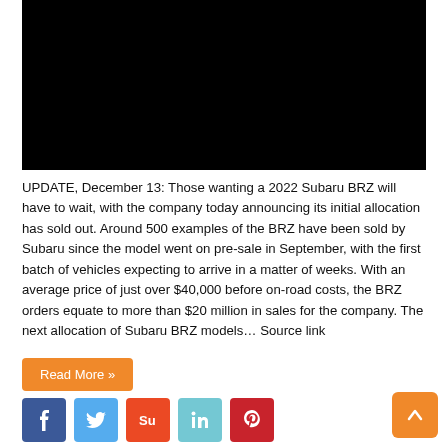[Figure (photo): Black image/video placeholder at top of article]
UPDATE, December 13: Those wanting a 2022 Subaru BRZ will have to wait, with the company today announcing its initial allocation has sold out. Around 500 examples of the BRZ have been sold by Subaru since the model went on pre-sale in September, with the first batch of vehicles expecting to arrive in a matter of weeks. With an average price of just over $40,000 before on-road costs, the BRZ orders equate to more than $20 million in sales for the company. The next allocation of Subaru BRZ models… Source link
Read More »
[Figure (other): Social media share buttons: Facebook, Twitter, StumbleUpon, LinkedIn, Pinterest]